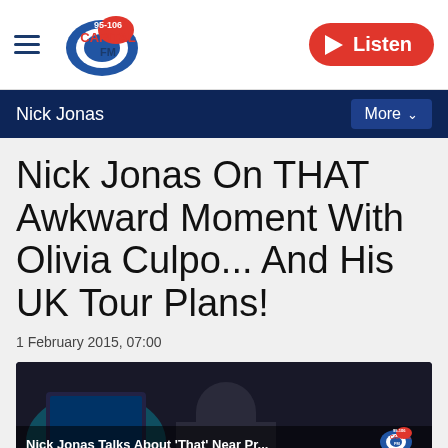Capital FM 95-106 | Listen
Nick Jonas | More
Nick Jonas On THAT Awkward Moment With Olivia Culpo... And His UK Tour Plans!
1 February 2015, 07:00
[Figure (screenshot): Video thumbnail showing Nick Jonas in a radio studio with caption 'Nick Jonas Talks About That Near Pr...' and Capital FM 95-106 logo in bottom right.]